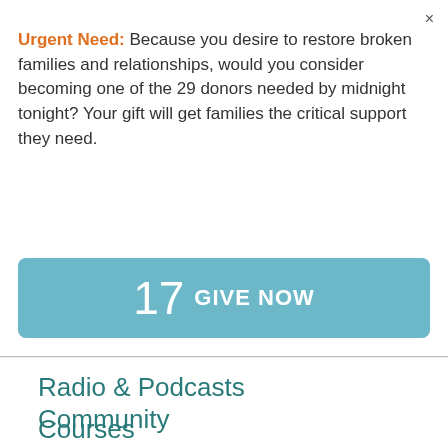×
Urgent Need: Because you desire to restore broken families and relationships, would you consider becoming one of the 29 donors needed by midnight tonight? Your gift will get families the critical support they need.
17  GIVE NOW
Radio & Podcasts
Community
Courses